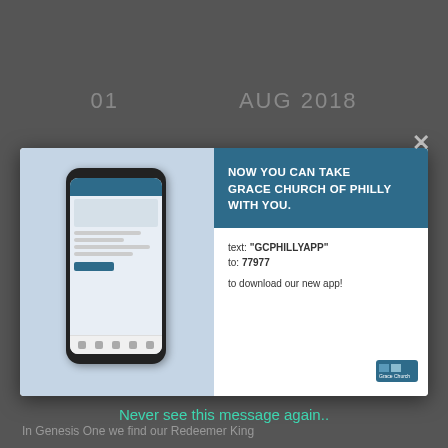01   AUG 2018
[Figure (screenshot): Modal popup advertisement for Grace Church of Philly app showing a phone mockup on the left and text on the right with a teal/dark blue header saying 'NOW YOU CAN TAKE GRACE CHURCH OF PHILLY WITH YOU.' followed by instructions to text 'GCPHILLYAPP' to 77977 to download the new app.]
Never see this message again..
GRACE
Kin...
ISSUES
NO COMMENTS
In Genesis One we find our Redeemer King